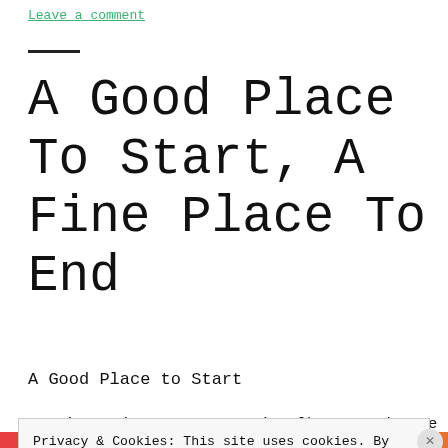Leave a comment
A Good Place To Start, A Fine Place To End
A Good Place to Start
So I've written 39 acoustic albums, and some
Privacy & Cookies: This site uses cookies. By continuing to use this website, you agree to their use. To find out more, including how to control cookies, see here: Cookie Policy
Close and accept